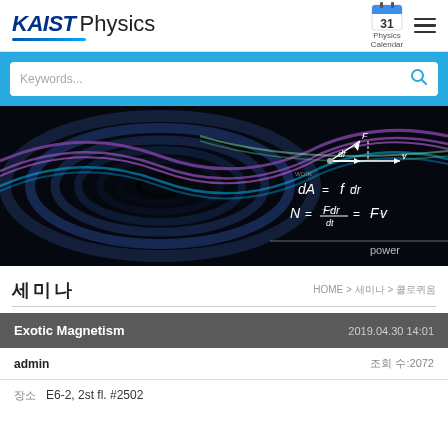KAIST Physics
[Figure (screenshot): Search bar with Keywords placeholder and blue magnifying glass icon on cyan background]
[Figure (illustration): Dark physics hero banner with colorful wave patterns and physics equations dA=fdr, N=Fdr/dt=Fv, power]
세미나
HOME > 세미나 > 콜로퀴움
Exotic Magnetism
2019.04.30 14:01
admin
조회 수:2072
장소   E6-2, 2st fl. #2502